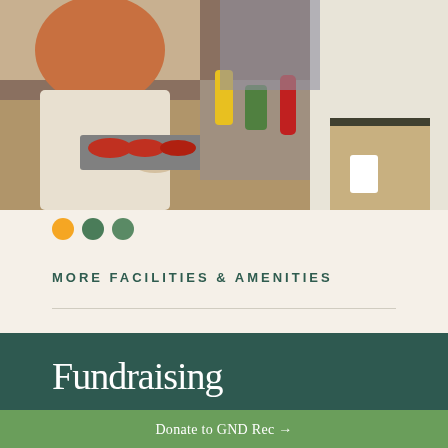[Figure (photo): People serving food at an outdoor event; a woman in white with gloves serving from a tray, condiments and plates visible, a man in a white shirt holding a plate in the background.]
[Figure (infographic): Three colored navigation dots: orange, dark green, dark green]
MORE FACILITIES & AMENITIES
← Pavilion
Dog Park →
Fundraising
Donate to GND Rec →